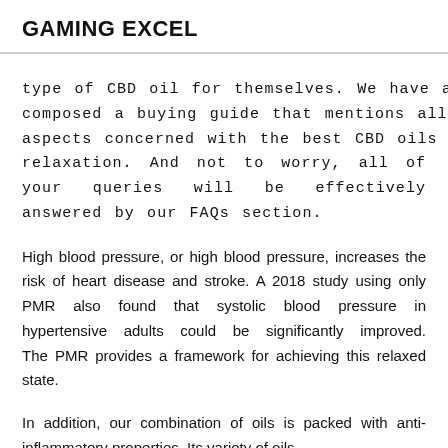GAMING EXCEL
type of CBD oil for themselves. We have also composed a buying guide that mentions all of the aspects concerned with the best CBD oils for relaxation. And not to worry, all of your queries will be effectively answered by our FAQs section.
High blood pressure, or high blood pressure, increases the risk of heart disease and stroke. A 2018 study using only PMR also found that systolic blood pressure in hypertensive adults could be significantly improved. The PMR provides a framework for achieving this relaxed state.
In addition, our combination of oils is packed with anti-inflammatory properties. Its variety of oils